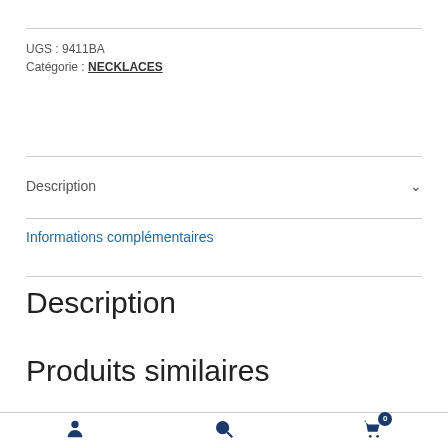UGS : 9411BA
Catégorie : NECKLACES
Description
Informations complémentaires
Description
Produits similaires
user icon | search icon | cart 0